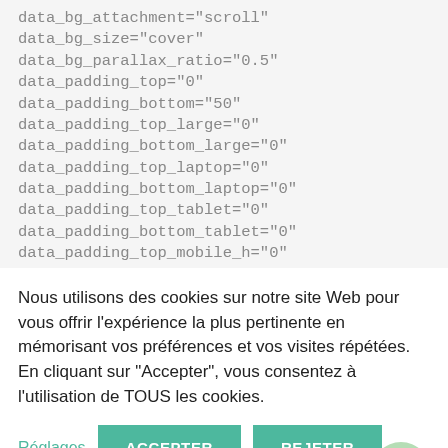data_bg_attachment="scroll" data_bg_size="cover" data_bg_parallax_ratio="0.5" data_padding_top="0" data_padding_bottom="50" data_padding_top_large="0" data_padding_bottom_large="0" data_padding_top_laptop="0" data_padding_bottom_laptop="0" data_padding_top_tablet="0" data_padding_bottom_tablet="0" data_padding_top_mobile_h="0" data_padding_bottom_mobile_h="0" data_padding_top_mobile_v="0" data_padding_bottom_mobile_v="0" data_shortcode_id="95x4po001"][cmsmasters_column
Nous utilisons des cookies sur notre site Web pour vous offrir l'expérience la plus pertinente en mémorisant vos préférences et vos visites répétées. En cliquant sur "Accepter", vous consentez à l'utilisation de TOUS les cookies.